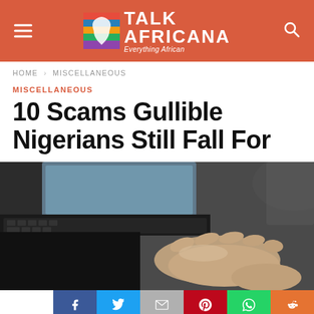TALK AFRICANA — Everything African
HOME > MISCELLANEOUS
MISCELLANEOUS
10 Scams Gullible Nigerians Still Fall For
[Figure (photo): Close-up of a person's hand typing on a laptop keyboard, with a blurred monitor screen in the background.]
Social share buttons: Facebook, Twitter, Gmail, Pinterest, WhatsApp, Reddit